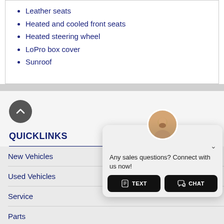Leather seats
Heated and cooled front seats
Heated steering wheel
LoPro box cover
Sunroof
QUICKLINKS
New Vehicles
Used Vehicles
Service
Parts
Financing
Contact
SHOPPI...
[Figure (photo): Chat popup widget with agent photo, 'Any sales questions? Connect with us now!' text, TEXT and CHAT buttons]